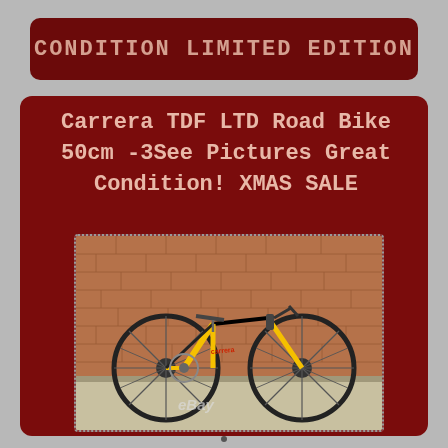Condition Limited Edition
Carrera TDF LTD Road Bike 50cm -3See Pictures Great Condition! XMAS SALE
[Figure (photo): Yellow and black Carrera TDF road bicycle leaning against a brick wall, photographed outdoors on a paved surface. eBay watermark visible at bottom.]